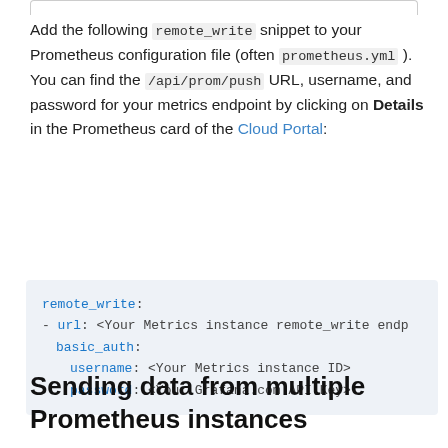Add the following remote_write snippet to your Prometheus configuration file (often prometheus.yml ). You can find the /api/prom/push URL, username, and password for your metrics endpoint by clicking on Details in the Prometheus card of the Cloud Portal:
remote_write:
- url: <Your Metrics instance remote_write endp
  basic_auth:
    username: <Your Metrics instance ID>
    password: <Your Grafana.com API Key>
Sending data from multiple Prometheus instances